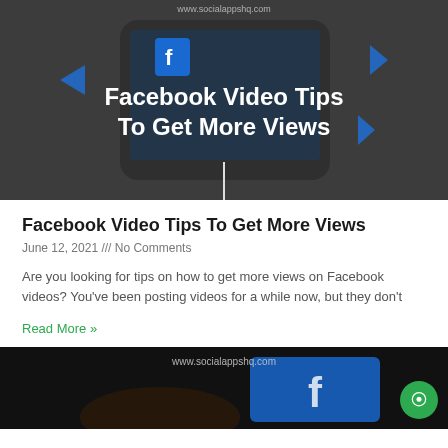[Figure (photo): Dark-toned graphic of a smartphone with Facebook interface visible, overlaid with bold white text reading 'Facebook Video Tips To Get More Views', with blue triangle arrow graphics. Website watermark 'www.socialappshq.com' at top.]
Facebook Video Tips To Get More Views
June 12, 2021 /// No Comments
Are you looking for tips on how to get more views on Facebook videos? You've been posting videos for a while now, but they don't
Read More »
[Figure (photo): Dark photo showing a hand pointing at a smartphone with Facebook app open, with website watermark 'www.socialappshq.com' visible at top.]